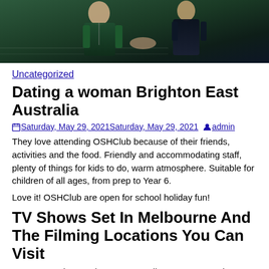[Figure (photo): Photo of two people on a tennis court, one wearing a dark green top and one wearing a dark navy outfit]
Uncategorized
Dating a woman Brighton East Australia
Saturday, May 29, 2021Saturday, May 29, 2021  admin
They love attending OSHClub because of their friends, activities and the food. Friendly and accommodating staff, plenty of things for kids to do, warm atmosphere. Suitable for children of all ages, from prep to Year 6.
Love it! OSHClub are open for school holiday fun!
TV Shows Set In Melbourne And The Filming Locations You Can Visit
We are opening 17 sites across Melbourne as central Vacation Care centres, they are open to all age of children and are used as a